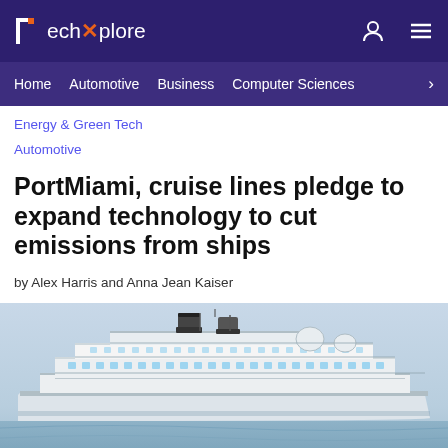TechXplore
Home | Automotive | Business | Computer Sciences
Energy & Green Tech
Automotive
PortMiami, cruise lines pledge to expand technology to cut emissions from ships
by Alex Harris and Anna Jean Kaiser
[Figure (photo): A large white cruise ship on calm blue-grey water, viewed from the side, with multiple decks, funnels, and communication equipment visible.]